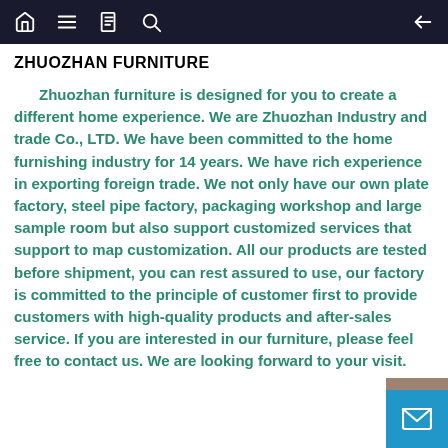Navigation bar with home, menu, book, search icons and back arrow
ZHUOZHAN FURNITURE
Zhuozhan furniture is designed for you to create a different home experience. We are Zhuozhan Industry and trade Co., LTD. We have been committed to the home furnishing industry for 14 years. We have rich experience in exporting foreign trade. We not only have our own plate factory, steel pipe factory, packaging workshop and large sample room but also support customized services that support to map customization. All our products are tested before shipment, you can rest assured to use, our factory is committed to the principle of customer first to provide customers with high-quality products and after-sales service. If you are interested in our furniture, please feel free to contact us. We are looking forward to your visit.